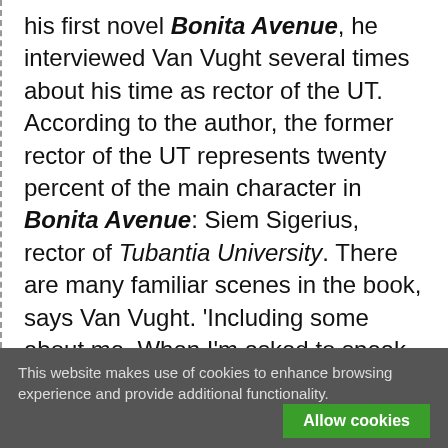his first novel Bonita Avenue, he interviewed Van Vught several times about his time as rector of the UT. According to the author, the former rector of the UT represents twenty percent of the main character in Bonita Avenue: Siem Sigerius, rector of Tubantia University. There are many familiar scenes in the book, says Van Vught. 'Including some about me. When I'm asked to speak somewhere I sometimes introduce myself as Siem. Sigerius. Usually half of the audience doesn't have a clue what I'm talking about, while the other half
This website makes use of cookies to enhance browsing experience and provide additional functionality.